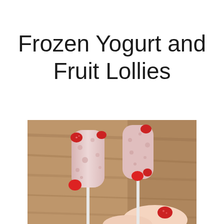Frozen Yogurt and Fruit Lollies
[Figure (photo): Two frozen yogurt and fruit lollies on sticks being held in a hand, with strawberry pieces visible inside the pink frozen yogurt pops, against a wooden background.]